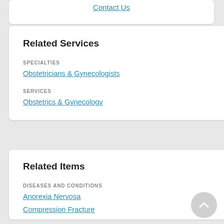Contact Us
Related Services
SPECIALTIES
Obstetricians & Gynecologists
SERVICES
Obstetrics & Gynecology
Related Items
DISEASES AND CONDITIONS
Anorexia Nervosa
Compression Fracture